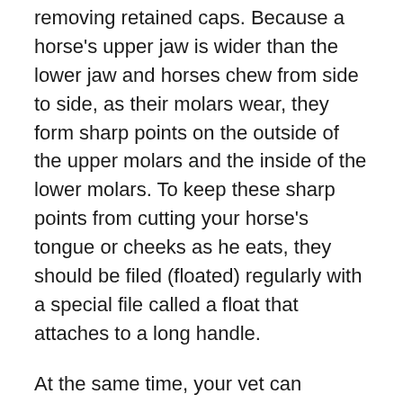removing retained caps. Because a horse's upper jaw is wider than the lower jaw and horses chew from side to side, as their molars wear, they form sharp points on the outside of the upper molars and the inside of the lower molars. To keep these sharp points from cutting your horse's tongue or cheeks as he eats, they should be filed (floated) regularly with a special file called a float that attaches to a long handle.
At the same time, your vet can remove caps and/or wolf teeth. Caps are temporary premolars (baby teeth) and molars that have not completely dislodged even though the permanent ones have erupted. In between dental visits, monitor your horse to determine if he needs more frequent visits.
Here are some sign of necessary dental work: